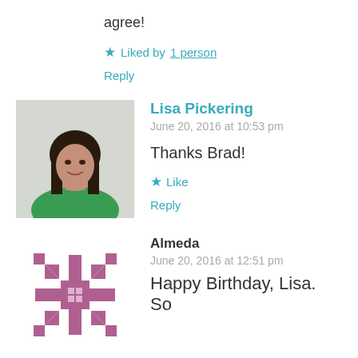agree!
★ Liked by 1 person
Reply
[Figure (photo): Profile photo of Lisa Pickering, woman in green top]
Lisa Pickering
June 20, 2016 at 10:53 pm
Thanks Brad!
★ Like
Reply
[Figure (logo): Almeda avatar: purple/mauve decorative quilt-star icon]
Almeda
June 20, 2016 at 12:51 pm
Happy Birthday, Lisa. So